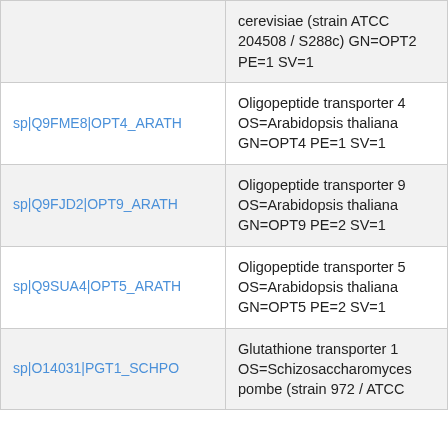| ID | Description |
| --- | --- |
|  | cerevisiae (strain ATCC 204508 / S288c) GN=OPT2 PE=1 SV=1 |
| sp|Q9FME8|OPT4_ARATH | Oligopeptide transporter 4 OS=Arabidopsis thaliana GN=OPT4 PE=1 SV=1 |
| sp|Q9FJD2|OPT9_ARATH | Oligopeptide transporter 9 OS=Arabidopsis thaliana GN=OPT9 PE=2 SV=1 |
| sp|Q9SUA4|OPT5_ARATH | Oligopeptide transporter 5 OS=Arabidopsis thaliana GN=OPT5 PE=2 SV=1 |
| sp|O14031|PGT1_SCHPO | Glutathione transporter 1 OS=Schizosaccharomyces pombe (strain 972 / ATCC |